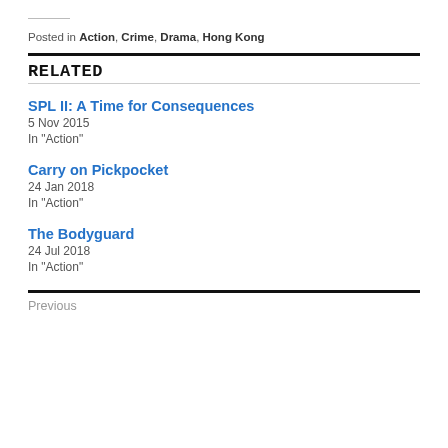Posted in Action, Crime, Drama, Hong Kong
RELATED
SPL II: A Time for Consequences
5 Nov 2015
In "Action"
Carry on Pickpocket
24 Jan 2018
In "Action"
The Bodyguard
24 Jul 2018
In "Action"
Previous